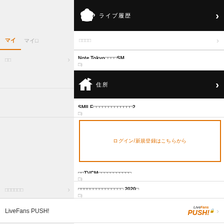[Figure (screenshot): Website navigation screenshot showing LiveFans Japanese music event listing site with black navigation bars, menu items in Japanese, orange bordered login box, LiveFans PUSH! branding, and a concert photo at the bottom right]
ライブ履歴
マイ
マイ□
□□□□
Note Tokyo□□□□SM
SMILE□□□□□□□□□□□□□2
□□TVCM□□□□□□□□□□□
□□□□□□□□□□□□□□□ 2020□
□□
□□□□□□
LiveFans PUSH!
□□□□□□□□
□□□□
□□□□
ログイン/新規登録はこちらから
THERN ALL STARS